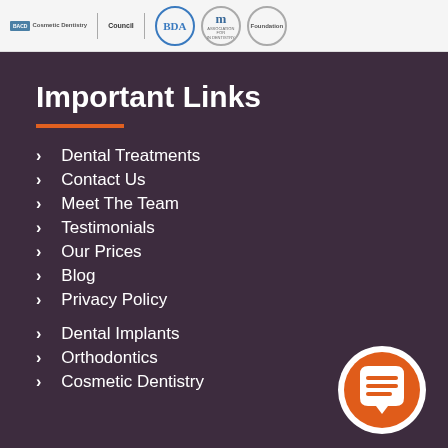BACD Cosmetic Dentistry | Council | [logos] | m [logo] | Foundation
Important Links
Dental Treatments
Contact Us
Meet The Team
Testimonials
Our Prices
Blog
Privacy Policy
Dental Implants
Orthodontics
Cosmetic Dentistry
[Figure (illustration): Orange circular chat/message bubble icon with white speech bubble containing horizontal lines, positioned bottom-right]